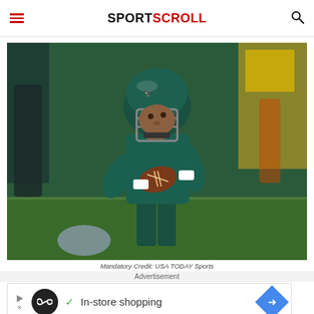SPORTSCROLL
[Figure (photo): Philadelphia Eagles quarterback #2 in teal uniform holding football in throwing stance, wearing helmet with eagle logo, photographed during a game]
Mandatory Credit: USA TODAY Sports
Advertisement
[Figure (other): Advertisement banner: In-store shopping]